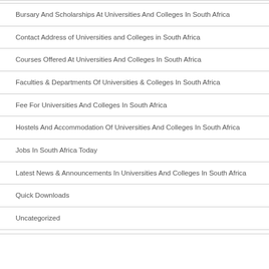Bursary And Scholarships At Universities And Colleges In South Africa
Contact Address of Universities and Colleges in South Africa
Courses Offered At Universities And Colleges In South Africa
Faculties & Departments Of Universities & Colleges In South Africa
Fee For Universities And Colleges In South Africa
Hostels And Accommodation Of Universities And Colleges In South Africa
Jobs In South Africa Today
Latest News & Announcements In Universities And Colleges In South Africa
Quick Downloads
Uncategorized